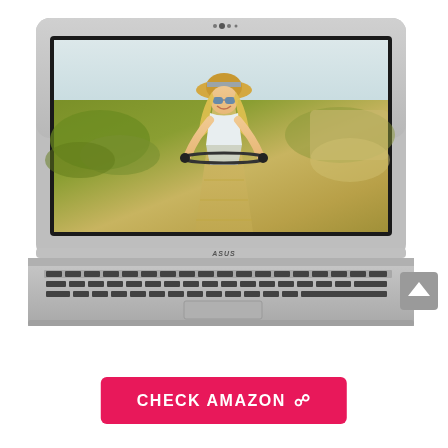[Figure (photo): ASUS laptop (silver/grey aluminum body) displayed open with its screen showing a smiling young woman with a straw hat riding a bicycle on a boardwalk path through grassy dunes. The laptop has a silver chassis with visible keyboard and touchpad. A grey back-to-top arrow button appears at the right side.]
CHECK AMAZON ⚙